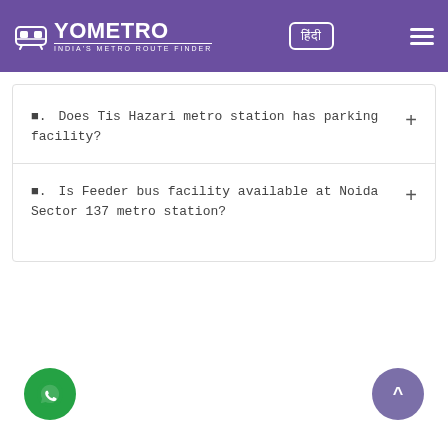YOMETRO — India's Metro Route Finder
Q. Does Tis Hazari metro station has parking facility?
Q. Is Feeder bus facility available at Noida Sector 137 metro station?